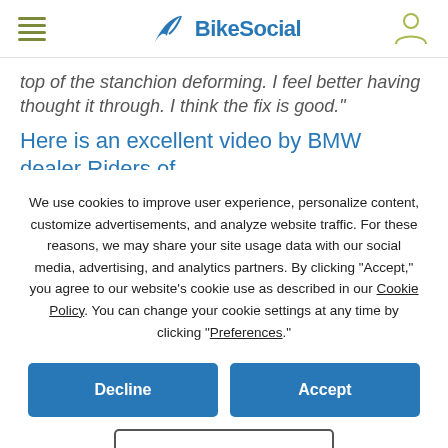BikeSocial
top of the stanchion deforming. I feel better having thought it through. I think the fix is good."
Here is an excellent video by BMW dealer Riders of Cardiff, showing exactly what the problem is, and the
We use cookies to improve user experience, personalize content, customize advertisements, and analyze website traffic. For these reasons, we may share your site usage data with our social media, advertising, and analytics partners. By clicking "Accept," you agree to our website's cookie use as described in our Cookie Policy. You can change your cookie settings at any time by clicking "Preferences."
Decline
Accept
Preferences